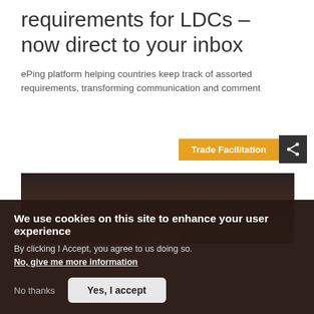requirements for LDCs – now direct to your inbox
ePing platform helping countries keep track of assorted requirements, transforming communication and comment
Trade Facilitation
[Figure (photo): Dark background photo showing a faint warm glow at the bottom center, part of a head or lamp partially visible]
We use cookies on this site to enhance your user experience
By clicking I Accept, you agree to us doing so.
No, give me more information
No thanks
Yes, I accept